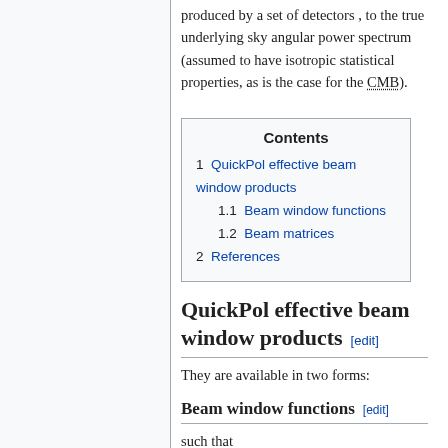produced by a set of detectors , to the true underlying sky angular power spectrum (assumed to have isotropic statistical properties, as is the case for the CMB).
| Contents |
| --- |
| 1   QuickPol effective beam window products |
| 1.1   Beam window functions |
| 1.2   Beam matrices |
| 2   References |
QuickPol effective beam window products [edit]
They are available in two forms:
Beam window functions [edit]
such that